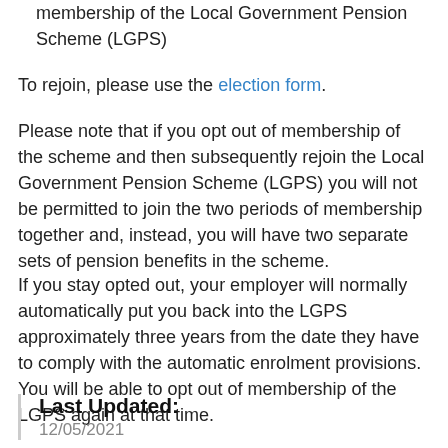membership of the Local Government Pension Scheme (LGPS)
To rejoin, please use the election form.
Please note that if you opt out of membership of the scheme and then subsequently rejoin the Local Government Pension Scheme (LGPS) you will not be permitted to join the two periods of membership together and, instead, you will have two separate sets of pension benefits in the scheme.
If you stay opted out, your employer will normally automatically put you back into the LGPS approximately three years from the date they have to comply with the automatic enrolment provisions. You will be able to opt out of membership of the LGPS again at that time.
Last Updated:
12/05/2021